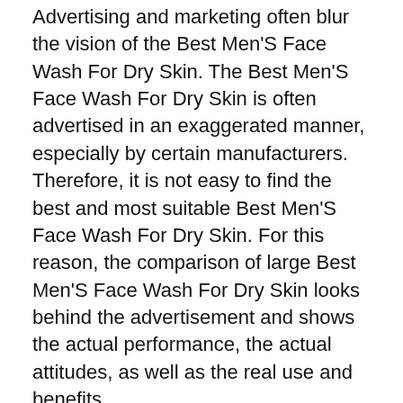Advertising and marketing often blur the vision of the Best Men'S Face Wash For Dry Skin. The Best Men'S Face Wash For Dry Skin is often advertised in an exaggerated manner, especially by certain manufacturers. Therefore, it is not easy to find the best and most suitable Best Men'S Face Wash For Dry Skin. For this reason, the comparison of large Best Men'S Face Wash For Dry Skin looks behind the advertisement and shows the actual performance, the actual attitudes, as well as the real use and benefits.
In addition to the customer's very important comments about individual Best Men'S Face Wash For Dry Skins, clear technical facts for the next purchase have to be considered. This includes performance, individual